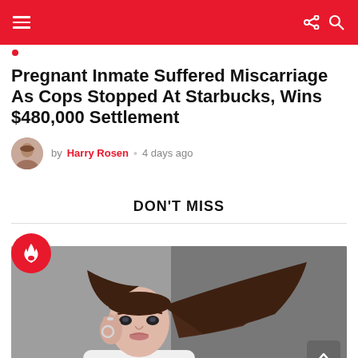Navigation bar with menu, share, and search icons
Pregnant Inmate Suffered Miscarriage As Cops Stopped At Starbucks, Wins $480,000 Settlement
by Harry Rosen • 4 days ago
DON'T MISS
[Figure (photo): Young woman with long brown hair blowing, posed in a white outfit against a gray background, with a red fire badge overlay in the top left corner]